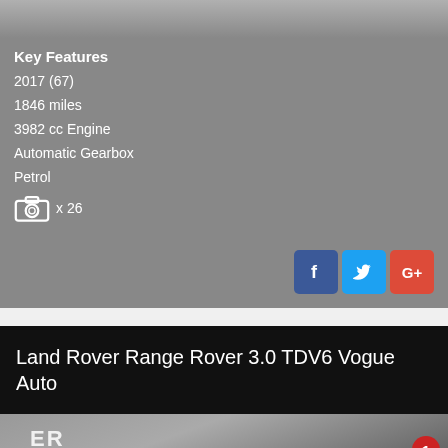[Figure (photo): Top strip of a car photo, grey background]
Key Features
2017 (67)
1846 miles
3982 cc Engine
Automatic Gearbox
Petrol
x 26
[Figure (infographic): Social media icons: Facebook, Twitter, Google+]
Land Rover Range Rover 3.0 TDV6 Vogue Auto
[Figure (photo): Exterior photo of a car dealership building with sign reading 'LTD']